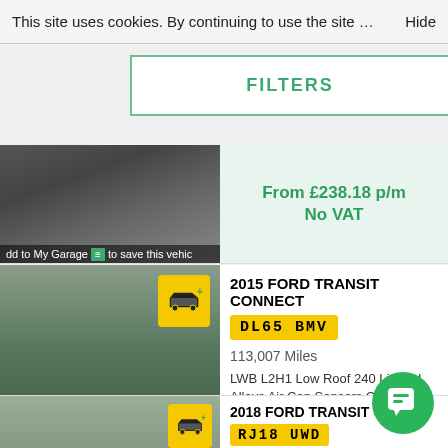FILTER RESULTS
This site uses cookies. By continuing to use the site … Hide
FILTERS
[Figure (photo): Aerial view of white vans in a parking/dealer lot]
dd to My Garage to save this vehic
From £238.18 p/m
No VAT
[Figure (photo): Aerial view of van dealership lot with many white vans]
Sit tight, photos are coming!
dd to My Garage to save this vehic
2015 FORD TRANSIT CONNECT
DL65 BMV
113,007 Miles
LWB L2H1 Low Roof 240 Limited Alloys Air Con Sensors Cruise NO VAT
£10,995 No VAT
sold by Trade Vans UK
[Figure (photo): Anchor dealership building exterior]
2018 FORD TRANSIT CON
RJ18 UWD